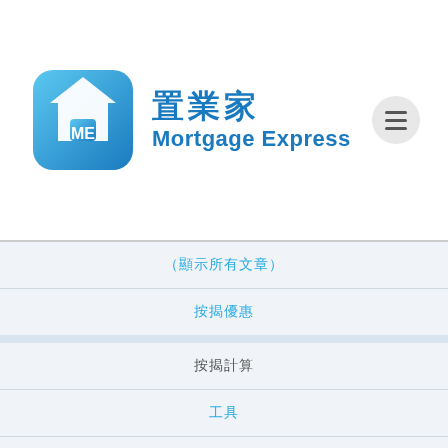[Figure (logo): Mortgage Express logo with house icon and Chinese text 置業家]
（顯示所有文章）
按揭優惠
按揭計算
工具
按揭學問十萬個為什麼
銀行按揭利率比較
WordPress.org 技術支援論壇